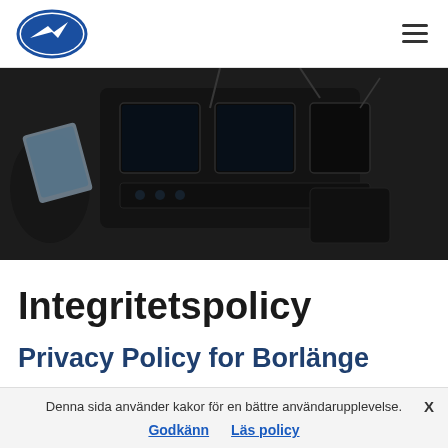Borlänge Flygklubb logo and navigation
[Figure (photo): Close-up photo of a small aircraft cockpit showing avionics, instruments, and wiring]
Integritetspolicy
Privacy Policy for Borlänge
Denna sida använder kakor för en bättre användarupplevelse. X
Godkänn   Läs policy